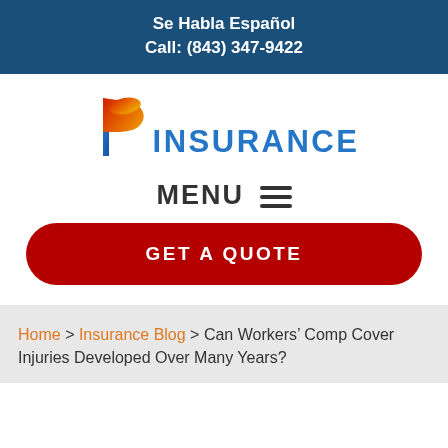Se Habla Español
Call: (843) 347-9422
[Figure (logo): P Insurance logo with colorful P letter mark and blue INSURANCE text]
MENU ☰
GET A QUOTE
Home > Insurance Blog > Can Workers' Comp Cover Injuries Developed Over Many Years?